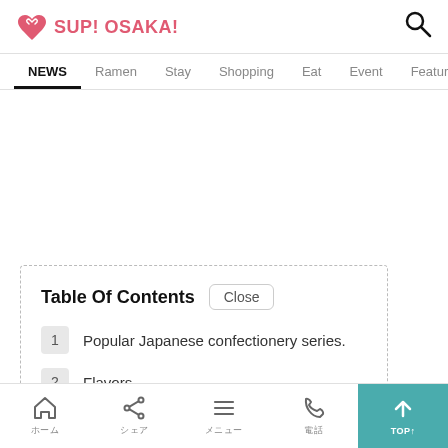SUP! OSAKA! — navigation: NEWS, Ramen, Stay, Shopping, Eat, Event, Features, Lifesty…
Table Of Contents   Close
1  Popular Japanese confectionery series.
2  Flavors
Home  Share  Menu  Phone  TOP↑